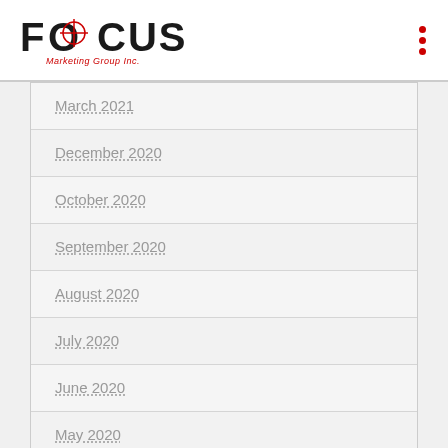[Figure (logo): Focus Marketing Group Inc. logo with crosshair on O]
March 2021
December 2020
October 2020
September 2020
August 2020
July 2020
June 2020
May 2020
April 2020